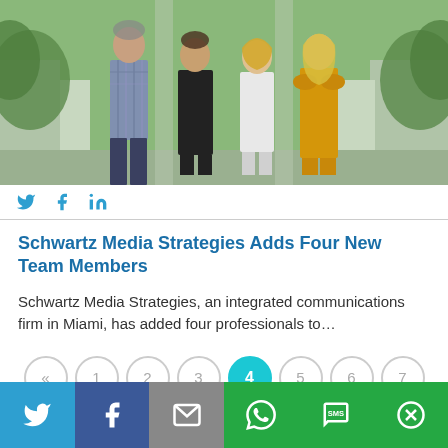[Figure (photo): Four professionals standing together outdoors in front of a building with greenery. One man in a plaid shirt and dark pants on the left, and three women to his right.]
Twitter, Facebook, LinkedIn social share icons
Schwartz Media Strategies Adds Four New Team Members
Schwartz Media Strategies, an integrated communications firm in Miami, has added four professionals to…
Pagination: « 1 2 3 4 5 6 7
Share bar: Twitter, Facebook, Email, WhatsApp, SMS, More